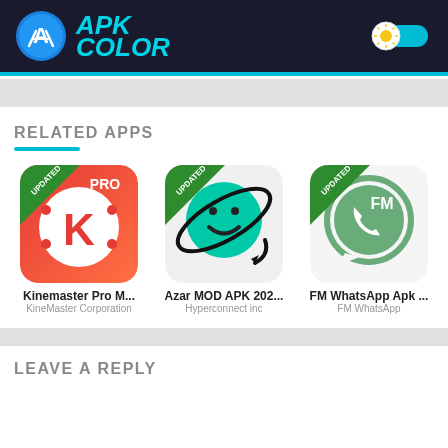APK COLOR
RELATED APPS
[Figure (screenshot): App icon for Kinemaster Pro with UPDATED badge, red/orange gradient background with K logo]
Kinemaster Pro M...
KineMaster Corporation
[Figure (screenshot): App icon for Azar MOD APK with UPDATED badge, teal circle with smiley face]
Azar MOD APK 202...
Hyperconnect inc
[Figure (screenshot): App icon for FM WhatsApp with UPDATED badge, green WhatsApp-style speech bubble with FM text]
FM WhatsApp Apk ...
FM WhatsApp
LEAVE A REPLY